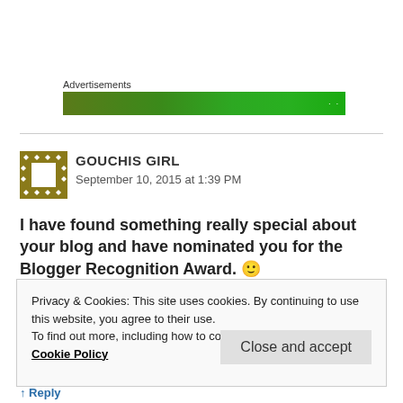Advertisements
[Figure (other): Green advertisement banner with lighter green sparkle pattern on right side]
GOUCHIS GIRL
September 10, 2015 at 1:39 PM
I have found something really special about your blog and have nominated you for the Blogger Recognition Award. 🙂
Privacy & Cookies: This site uses cookies. By continuing to use this website, you agree to their use.
To find out more, including how to control cookies, see here: Cookie Policy
Close and accept
↑ Reply